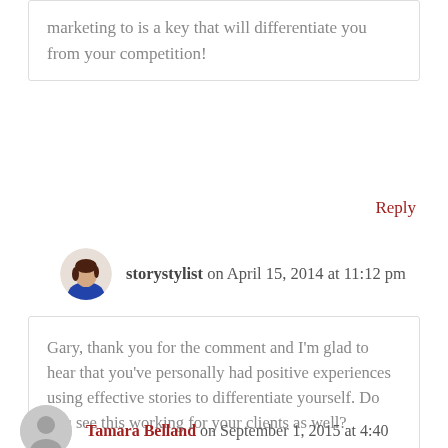marketing to is a key that will differentiate you from your competition!
Reply
storystylist on April 15, 2014 at 11:12 pm
Gary, thank you for the comment and I'm glad to hear that you've personally had positive experiences using effective stories to differentiate yourself. Do you see this working for your clients as well?
Reply
Tamara Belland on September 1, 2015 at 4:40